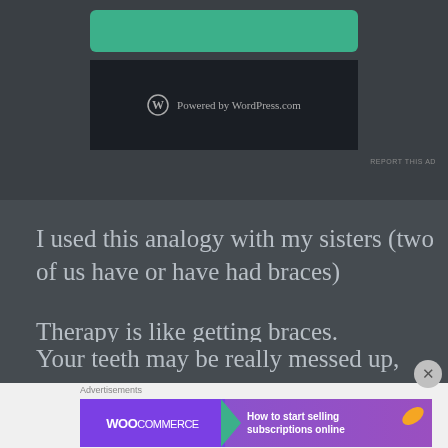[Figure (screenshot): WordPress.com advertisement banner with teal button and 'Powered by WordPress.com' text on dark background. 'REPORT THIS AD' link at bottom right.]
I used this analogy with my sisters (two of us have or have had braces)
Therapy is like getting braces.
Your teeth may be really messed up,
Advertisements
[Figure (screenshot): WooCommerce advertisement: 'How to start selling subscriptions online' with WooCommerce logo and colorful leaf graphics.]